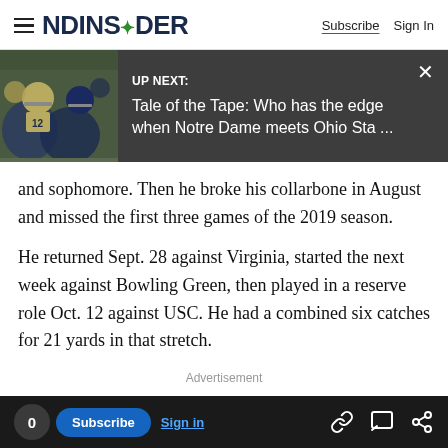NDINSiDER | Subscribe | Sign In
[Figure (screenshot): UP NEXT banner with Notre Dame football players image and text: 'Tale of the Tape: Who has the edge when Notre Dame meets Ohio Sta ...']
and sophomore. Then he broke his collarbone in August and missed the first three games of the 2019 season.
He returned Sept. 28 against Virginia, started the next week against Bowling Green, then played in a reserve role Oct. 12 against USC. He had a combined six catches for 21 yards in that stretch.
Advertisement
0  Subscribe  Sign in